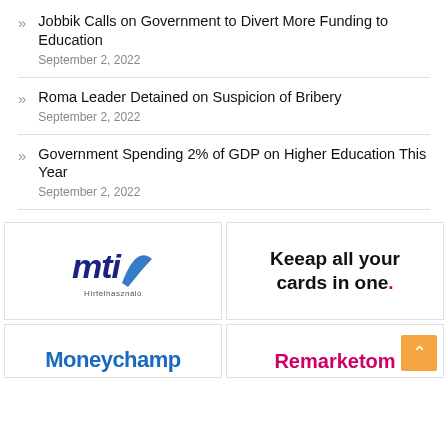Jobbik Calls on Government to Divert More Funding to Education
September 2, 2022
Roma Leader Detained on Suspicion of Bribery
September 2, 2022
Government Spending 2% of GDP on Higher Education This Year
September 2, 2022
[Figure (logo): MTI Hírfelhasználó logo — bold italic blue 'mti' text with blue arrow swoosh, small subtext 'Hírfelhasználó']
[Figure (logo): Keeap advertisement — bold black text 'Keeap all your cards in one.' with red period]
[Figure (logo): Moneychamp logo — partial blue bold text visible at bottom]
[Figure (logo): Remarketom logo — partial magenta/pink bold text visible at bottom, with orange scroll-to-top button]